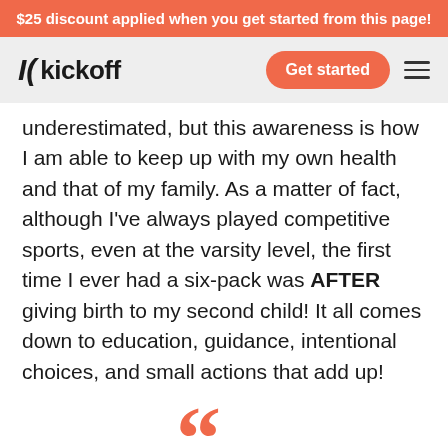$25 discount applied when you get started from this page!
[Figure (logo): Kickoff logo with stylized K icon and word 'kickoff', plus 'Get started' orange button and hamburger menu icon]
underestimated, but this awareness is how I am able to keep up with my own health and that of my family. As a matter of fact, although I've always played competitive sports, even at the varsity level, the first time I ever had a six-pack was AFTER giving birth to my second child! It all comes down to education, guidance, intentional choices, and small actions that add up!
[Figure (illustration): Large orange opening quotation mark (decorative)]